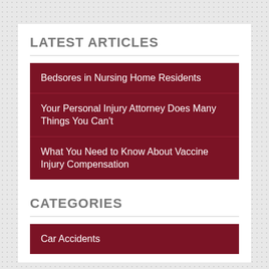LATEST ARTICLES
Bedsores in Nursing Home Residents
Your Personal Injury Attorney Does Many Things You Can't
What You Need to Know About Vaccine Injury Compensation
CATEGORIES
Car Accidents